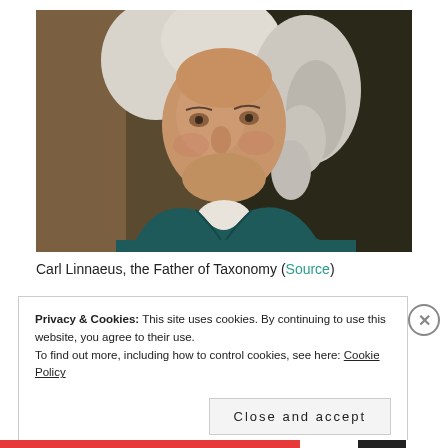[Figure (photo): Portrait painting of Carl Linnaeus, a middle-aged man with a white powdered wig, wearing a dark teal/green coat with a white cravat, against a dark brown background.]
Carl Linnaeus, the Father of Taxonomy (Source)
Privacy & Cookies: This site uses cookies. By continuing to use this website, you agree to their use.
To find out more, including how to control cookies, see here: Cookie Policy
Close and accept